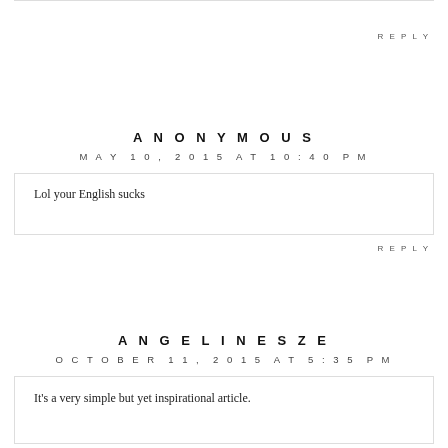REPLY
ANONYMOUS
MAY 10, 2015 AT 10:40 PM
Lol your English sucks
REPLY
ANGELINESZE
OCTOBER 11, 2015 AT 5:35 PM
It's a very simple but yet inspirational article.